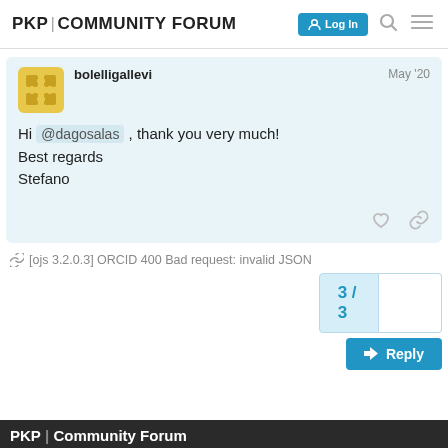PKP COMMUNITY FORUM  Log In
bolelligallevi  May '20
Hi @dagosalas , thank you very much!
Best regards
Stefano
[ojs 3.2.0.3] ORCID 400 Bad request: invalid JSON
3 / 3
PKP | Community Forum